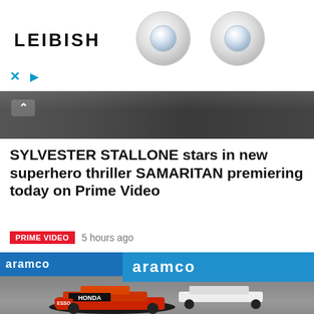[Figure (photo): LEIBISH jewelry advertisement banner showing brand name and two diamond stud earrings on white background with close and play controls]
[Figure (photo): Dark strip photo showing people in background, partially visible, with a white chevron/caret up arrow icon]
SYLVESTER STALLONE stars in new superhero thriller SAMARITAN premiering today on Prime Video
PRIME VIDEO   5 hours ago
[Figure (photo): Formula 1 race photo showing Red Bull Honda racing car in foreground with ESSO branding, and other F1 cars racing on wet track with aramco advertising banners in background]